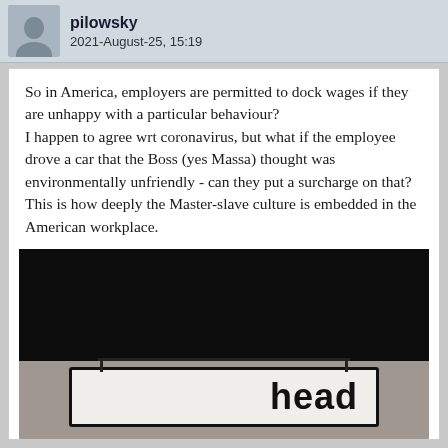pilowsky
2021-August-25, 15:19
So in America, employers are permitted to dock wages if they are unhappy with a particular behaviour?
I happen to agree wrt coronavirus, but what if the employee drove a car that the Boss (yes Massa) thought was environmentally unfriendly - can they put a surcharge on that?
This is how deeply the Master-slave culture is embedded in the American workplace.
Here's a sign that I'm told comes from Australia.
[Figure (photo): A photo with a dark/black upper portion and a lighter lower portion showing what appears to be a sign in a frame with partial text visible reading 'head']